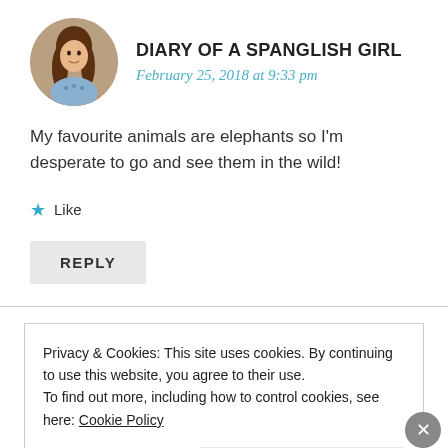[Figure (photo): Circular avatar photo of a woman with long brown hair]
DIARY OF A SPANGLISH GIRL
February 25, 2018 at 9:33 pm
My favourite animals are elephants so I'm desperate to go and see them in the wild!
★ Like
REPLY
Privacy & Cookies: This site uses cookies. By continuing to use this website, you agree to their use.
To find out more, including how to control cookies, see here: Cookie Policy
Close and accept